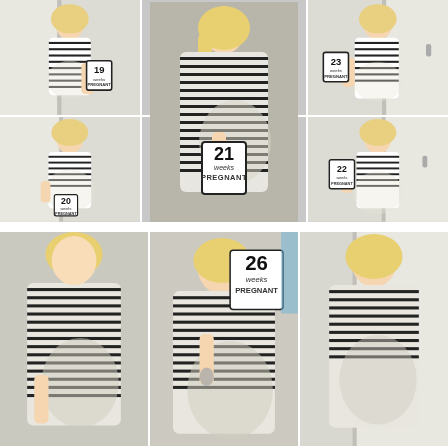[Figure (photo): Collage of pregnancy photos of a blonde woman in a striped top, showing weeks 19, 20, 21, 22, 23 (top collage) and weeks 26+ (bottom collage). Each photo shows a pregnancy milestone card.]